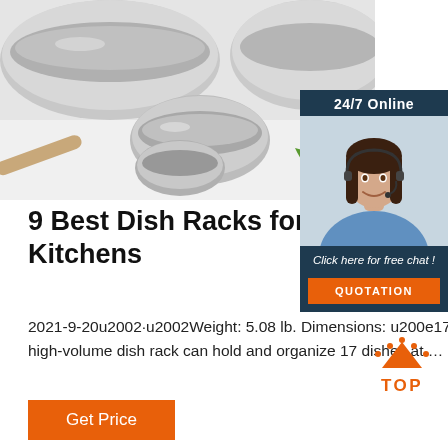[Figure (photo): Stainless steel mixing bowls of various sizes on a white surface, with a wooden rolling pin and a tomato with green pepper in the background.]
[Figure (photo): 24/7 Online chat widget showing a female customer service agent with headset, with a 'Click here for free chat!' prompt and an orange QUOTATION button.]
9 Best Dish Racks for Small and Large Kitchens
2021-9-20u2002·u2002Weight: 5.08 lb. Dimensions: u200e17.28 x 11.85 x 7.32 in. Material: Stainless steel. This high-volume dish rack can hold and organize 17 dishes at …
[Figure (other): Orange TOP button with dot pattern above the letters.]
Get Price